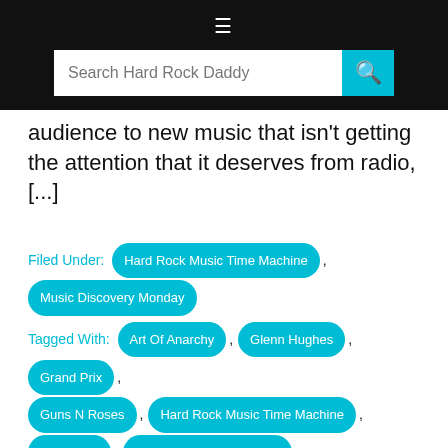≡ Search Hard Rock Daddy
audience to new music that isn't getting the attention that it deserves from radio, [...]
Filed Under: Hard Rock Music Time Machine , Music Discovery Monday
Tagged With: Art Of Anarchy , Glenn Hughes , Grand Prix , Guns N Roses , Hard Rock Music Time Machine , Impellitteri , Little Brother Is Watching , Michael Schenker's Temple Of Rock , Music Discovery Monday , Ron Bumblefoot Thal , Seventh Wonder , Starbreaker ,